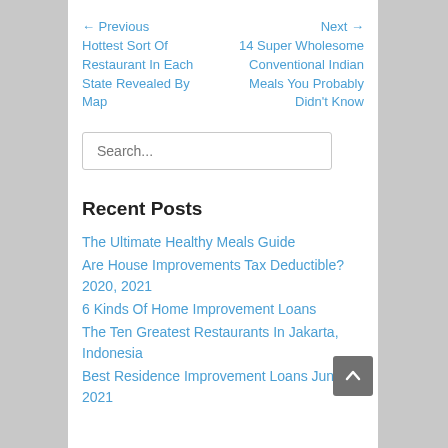← Previous Hottest Sort Of Restaurant In Each State Revealed By Map
Next → 14 Super Wholesome Conventional Indian Meals You Probably Didn't Know
Search...
Recent Posts
The Ultimate Healthy Meals Guide
Are House Improvements Tax Deductible? 2020, 2021
6 Kinds Of Home Improvement Loans
The Ten Greatest Restaurants In Jakarta, Indonesia
Best Residence Improvement Loans June 2021